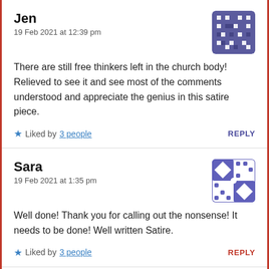Jen
19 Feb 2021 at 12:39 pm
There are still free thinkers left in the church body! Relieved to see it and see most of the comments understood and appreciate the genius in this satire piece.
★ Liked by 3 people   REPLY
Sara
19 Feb 2021 at 1:35 pm
Well done! Thank you for calling out the nonsense! It needs to be done! Well written Satire.
★ Liked by 3 people   REPLY
Matt